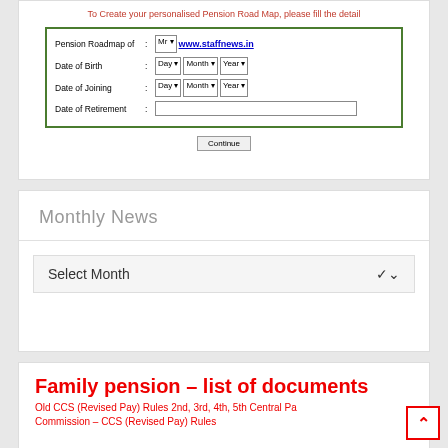[Figure (screenshot): Pension Road Map form screenshot showing fields for Pension Roadmap of (Mr dropdown + www.staffnews.in), Date of Birth (Day/Month/Year dropdowns), Date of Joining (Day/Month/Year dropdowns), Date of Retirement (text input), and a Continue button. Red text at top: 'To Create your personalised Pension Road Map, please fill the detail']
Monthly News
Select Month
Family pension – list of documents
Old CCS (Revised Pay) Rules 2nd, 3rd, 4th, 5th Central Pay Commission – CCS (Revised Pay) Rules